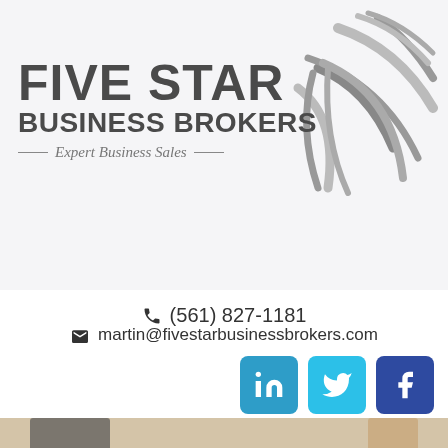[Figure (logo): Five Star Business Brokers logo with star graphic and tagline 'Expert Business Sales']
☎ (561) 827-1181
✉ martin@fivestarbusinessbrokers.com
[Figure (infographic): LinkedIn, Twitter, and Facebook social media icon buttons]
[Figure (photo): Dark navigation bar with hamburger menu icon, followed by a partial photo of people reviewing a contract at a desk]